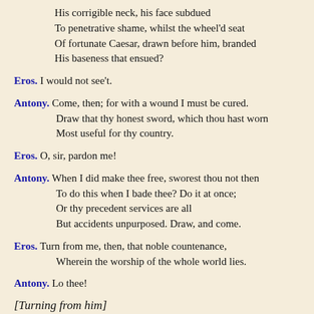His corrigible neck, his face subdued
To penetrative shame, whilst the wheel'd seat
Of fortunate Caesar, drawn before him, branded
His baseness that ensued?
Eros. I would not see't.
Antony. Come, then; for with a wound I must be cured.
Draw that thy honest sword, which thou hast worn
Most useful for thy country.
Eros. O, sir, pardon me!
Antony. When I did make thee free, sworest thou not then
To do this when I bade thee? Do it at once;
Or thy precedent services are all
But accidents unpurposed. Draw, and come.
Eros. Turn from me, then, that noble countenance,
Wherein the worship of the whole world lies.
Antony. Lo thee!
[Turning from him]
Eros. My sword is drawn.